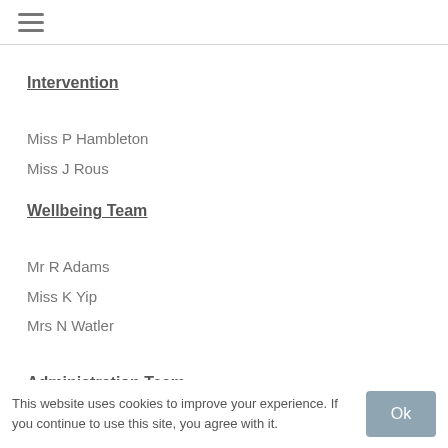☰
Intervention
Miss P Hambleton
Miss J Rous
Wellbeing Team
Mr R Adams
Miss K Yip
Mrs N Watler
Administration Team
This website uses cookies to improve your experience. If you continue to use this site, you agree with it.